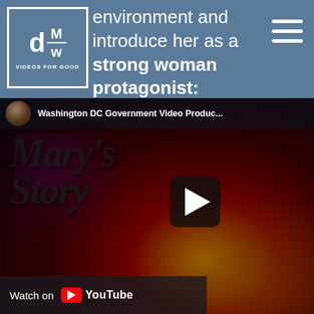environment and introduce her as a strong woman protagonist:
[Figure (screenshot): YouTube video embed showing 'Mary's Story' video thumbnail with dark red textured background, channel avatar, title 'Washington DC Government Video Produc...' and Watch on YouTube bar at bottom]
Washington DC Government Video Produc...
Watch on YouTube